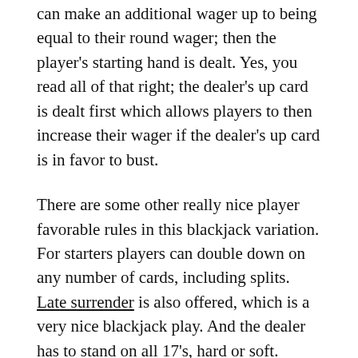can make an additional wager up to being equal to their round wager; then the player's starting hand is dealt. Yes, you read all of that right; the dealer's up card is dealt first which allows players to then increase their wager if the dealer's up card is in favor to bust.
There are some other really nice player favorable rules in this blackjack variation. For starters players can double down on any number of cards, including splits. Late surrender is also offered, which is a very nice blackjack play. And the dealer has to stand on all 17's, hard or soft.
But like any blackjack variation that offers some really nice player favorable plays and rules, there are also the downsides. Natural blackjacks only pay even money. But one of the biggest kickers is that this game is played with 48 card Spanish decks.